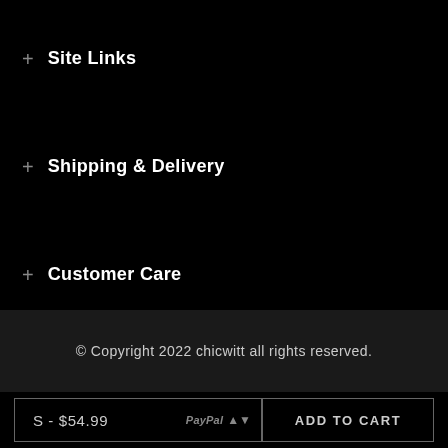+ Site Links
+ Shipping & Delivery
+ Customer Care
© Copyright 2022 chicwitt all rights reserved.
S - $54.99  ADD TO CART